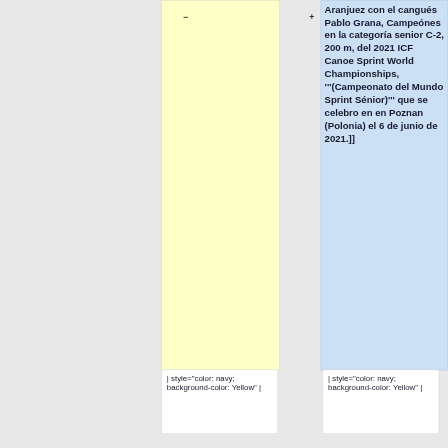Aranjuez con el cangués Pablo Grana, Campeónes en la categoría senior C-2, 200 m, del 2021 ICF Canoe Sprint World Championships, '''(Campeonato del Mundo Sprint Sénior)''' que se celebro en en Poznan (Polonia) el 6 de junio de 2021.]]
| style="color: navy; background-color: Yellow" |
| style="color: navy; background-color: Yellow" |